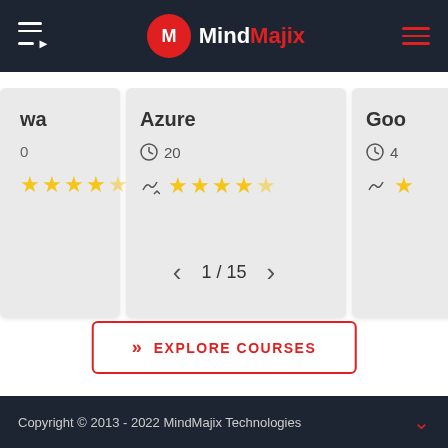MindMajix
[Figure (screenshot): Horizontally scrollable course cards showing partial cards for 'va...', 'Azure', and 'Goo...' with star ratings and clock icons]
1 / 15
EXPLORE COURSES
Copyright © 2013 - 2022 MindMajix Technologies